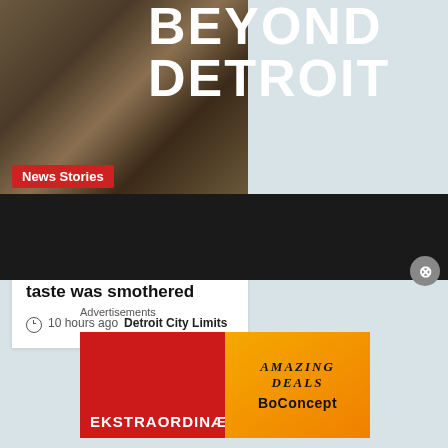[Figure (photo): Dark photograph of an ice-age bison mummy, brown and grey tones, occupying top-left area]
BEYOND DETROIT
News Stories
An ice-age bison was discovered! Then soon eaten — once the foul taste was smothered
10 hours ago Detroit City Limits
[Figure (other): Dark video/media bar section]
Advertisements
[Figure (other): Advertisement banner: EKSTRAORDINÆR on red left side, AMAZING DEALS and BoConcept logo on orange right side]